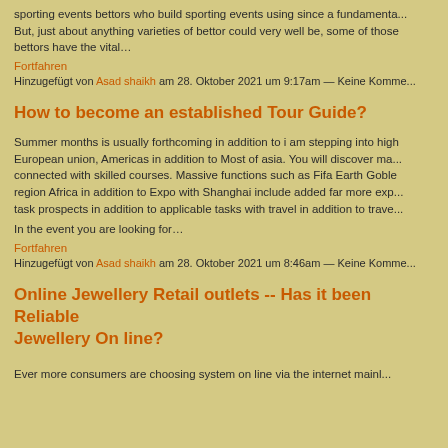sporting events bettors who build sporting events using since a fundamenta... But, just about anything varieties of bettor could very well be, some of those bettors have the vital…
Fortfahren
Hinzugefügt von Asad shaikh am 28. Oktober 2021 um 9:17am — Keine Komme...
How to become an established Tour Guide?
Summer months is usually forthcoming in addition to i am stepping into high European union, Americas in addition to Most of asia. You will discover ma... connected with skilled courses. Massive functions such as Fifa Earth Goble region Africa in addition to Expo with Shanghai include added far more exp... task prospects in addition to applicable tasks with travel in addition to trave...
In the event you are looking for…
Fortfahren
Hinzugefügt von Asad shaikh am 28. Oktober 2021 um 8:46am — Keine Komme...
Online Jewellery Retail outlets -- Has it been Reliable Jewellery On line?
Ever more consumers are choosing system on line via the internet mainl...